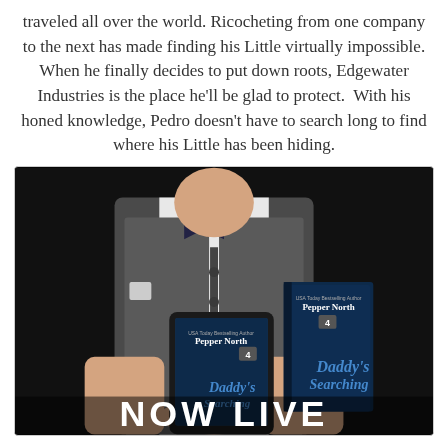traveled all over the world. Ricocheting from one company to the next has made finding his Little virtually impossible. When he finally decides to put down roots, Edgewater Industries is the place he'll be glad to protect.  With his honed knowledge, Pedro doesn't have to search long to find where his Little has been hiding.
[Figure (photo): Promotional book image showing a man in a grey vest and bow tie holding book covers. Foreground shows tablet and paperback copies of 'Daddy's Searching' by Pepper North (book 4 in series). Large 'NOW LIVE' text at bottom.]